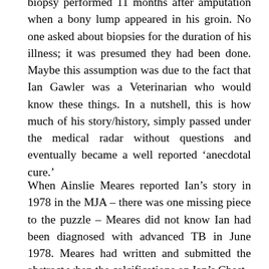biopsy performed 11 months after amputation when a bony lump appeared in his groin. No one asked about biopsies for the duration of his illness; it was presumed they had been done. Maybe this assumption was due to the fact that Ian Gawler was a Veterinarian who would know these things. In a nutshell, this is how much of his story/history, simply passed under the medical radar without questions and eventually became a well reported ‘anecdotal cure.’
When Ainslie Meares reported Ian’s story in 1978 in the MJA – there was one missing piece to the puzzle – Meares did not know Ian had been diagnosed with advanced TB in June 1978. Meares had written and submitted the abstract when the calcifications on Ian’s Chest